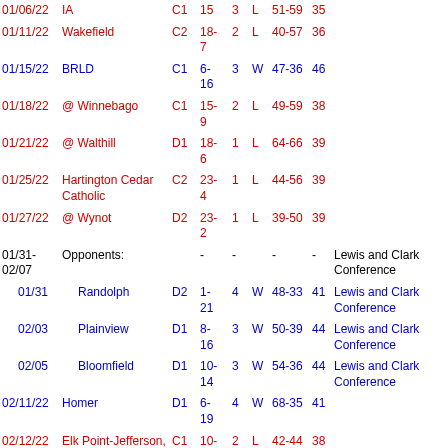| Date | Opponent | Cls | Rec | GM | W/L | Score | Pts | Conference |
| --- | --- | --- | --- | --- | --- | --- | --- | --- |
| 01/06/22 | IA | C1 | 15 | 3 | L | 51-59 | 35 |  |
| 01/11/22 | Wakefield | C2 | 18-7 | 2 | L | 40-57 | 36 |  |
| 01/15/22 | BRLD | C1 | 6-16 | 3 | W | 47-36 | 46 |  |
| 01/18/22 | @ Winnebago | C1 | 15-9 | 2 | L | 49-59 | 38 |  |
| 01/21/22 | @ Walthill | D1 | 18-6 | 1 | L | 64-66 | 39 |  |
| 01/25/22 | Hartington Cedar Catholic | C2 | 23-4 | 1 | L | 44-56 | 39 |  |
| 01/27/22 | @ Wynot | D2 | 23-2 | 1 | L | 39-50 | 39 |  |
| 01/31-02/07 | Opponents: | - | - | - | - | - | - | Lewis and Clark Conference |
| 01/31 | Randolph | D2 | 1-21 | 4 | W | 48-33 | 41 | Lewis and Clark Conference |
| 02/03 | Plainview | D1 | 8-16 | 3 | W | 50-39 | 44 | Lewis and Clark Conference |
| 02/05 | Bloomfield | D1 | 10-14 | 3 | W | 54-36 | 44 | Lewis and Clark Conference |
| 02/11/22 | Homer | D1 | 6-19 | 4 | W | 68-35 | 41 |  |
| 02/12/22 | Elk Point-Jefferson, SD | C1 | 10-10 | 2 | L | 42-44 | 38 |  |
| 02/18/22 | @ Creighton | D1 | 6-18 | 3 | W | 75-52 | 44 |  |
| 02/24/22 | ... | D? | 5- | 1 | W | 51-37 | 44 | Subdistrict C2-6 |